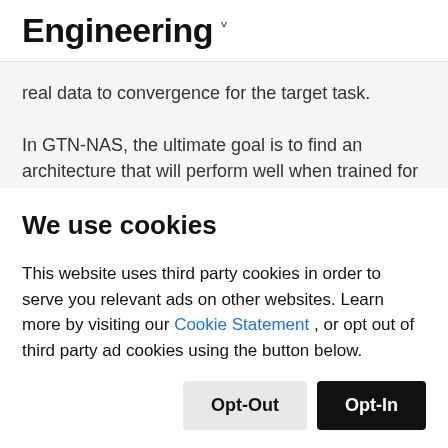Engineering ∨
real data to convergence for the target task.

In GTN-NAS, the ultimate goal is to find an architecture that will perform well when trained for many steps (i.e. until it converges) on real data. Thus, the performance of
We use cookies
This website uses third party cookies in order to serve you relevant ads on other websites. Learn more by visiting our Cookie Statement , or opt out of third party ad cookies using the button below.